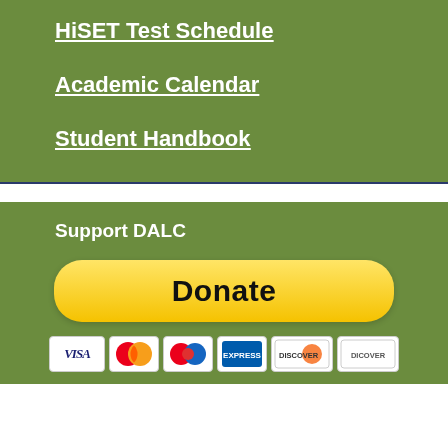HiSET Test Schedule
Academic Calendar
Student Handbook
Support DALC
[Figure (other): PayPal Donate button (yellow pill-shaped button with bold text 'Donate')]
[Figure (other): Payment method icons: Visa, Mastercard, another Mastercard/payment card, blue card, Discover, and another card]